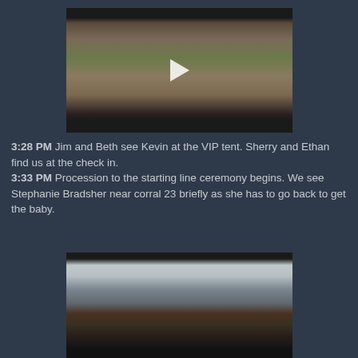[Figure (photo): Video thumbnail showing people at an event venue, with a white play button overlay. Dark bars at top and bottom.]
3:28 PM Jim and Beth see Kevin at the VIP tent. Sherry and Ethan find us at the check in.
3:33 PM Procession to the starting line ceremony begins. We see Stephanie Bradsher near corral 23 briefly as she has to go back to get the baby.
[Figure (photo): Video thumbnail showing a crowd of people at an outdoor event, with a white play button overlay. Dark bars at top and bottom.]